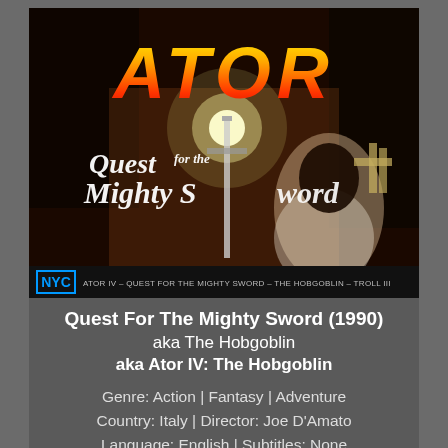[Figure (photo): Movie poster for 'Ator IV – Quest For The Mighty Sword' (1990), showing the title 'ATOR' in large orange/red gradient letters at top, subtitle 'Quest for the Mighty Sword' in white italic script, a glowing sword in the center, a woman in white kneeling on the right, dark fantasy background. Bottom bar shows NYC logo and text 'ATOR IV – QUEST FOR THE MIGHTY SWORD – THE HOBGOBLIN – TROLL III'.]
Quest For The Mighty Sword (1990)
aka The Hobgoblin
aka Ator IV: The Hobgoblin
Genre: Action | Fantasy | Adventure
Country: Italy | Director: Joe D'Amato
Language: English | Subtitles: None